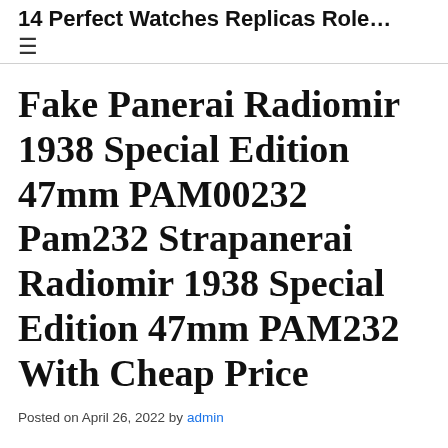14 Perfect Watches Replicas Role…
Fake Panerai Radiomir 1938 Special Edition 47mm PAM00232 Pam232 Strapanerai Radiomir 1938 Special Edition 47mm PAM232 With Cheap Price
Posted on April 26, 2022 by admin